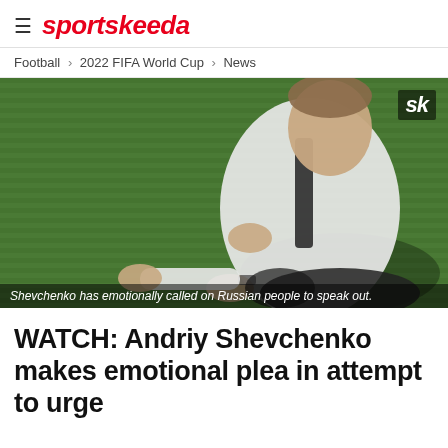≡ sportskeeda
Football > 2022 FIFA World Cup > News
[Figure (photo): Andriy Shevchenko gesturing on a football pitch sideline, wearing white shirt and dark tie, with green grass background. Caption: Shevchenko has emotionally called on Russian people to speak out.]
WATCH: Andriy Shevchenko makes emotional plea in attempt to urge